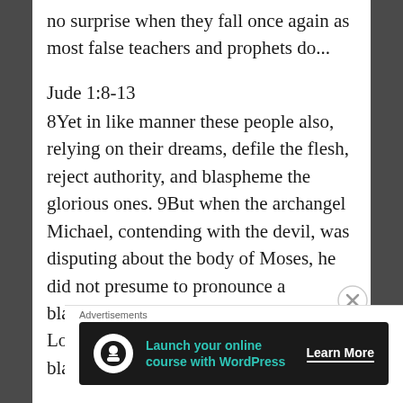no surprise when they fall once again as most false teachers and prophets do...
Jude 1:8-13
8Yet in like manner these people also, relying on their dreams, defile the flesh, reject authority, and blaspheme the glorious ones. 9But when the archangel Michael, contending with the devil, was disputing about the body of Moses, he did not presume to pronounce a blasphemous judgment, but said, “The Lord rebuke you.” 10But these people blaspheme
[Figure (other): Advertisement banner: 'Launch your online course with WordPress' with Learn More button on dark background]